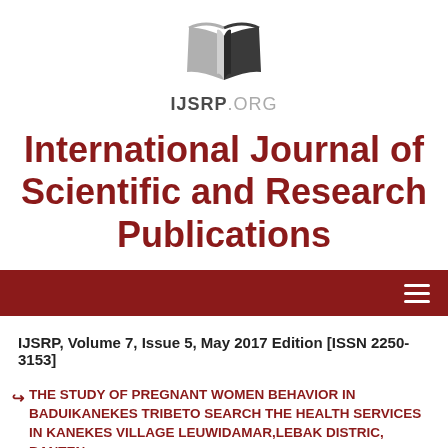[Figure (logo): Open book logo icon in dark gray/charcoal color above the text IJSRP.ORG]
International Journal of Scientific and Research Publications
IJSRP, Volume 7, Issue 5, May 2017 Edition [ISSN 2250-3153]
THE STUDY OF PREGNANT WOMEN BEHAVIOR IN BADUIKANEKES TRIBETO SEARCH THE HEALTH SERVICES IN KANEKES VILLAGE LEUWIDAMAR,LEBAK DISTRIC, BANTEN